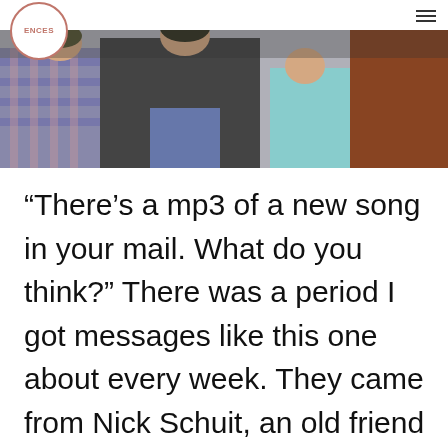ENCES
[Figure (photo): A group of young people sitting together, casually dressed, photographed in a band-style photo shoot. Wide horizontal crop showing multiple people.]
“There’s a mp3 of a new song in your mail. What do you think?” There was a period I got messages like this one about every week. They came from Nick Schuit, an old friend from Ridderkerk, now Rotterdam. Nick studied at the